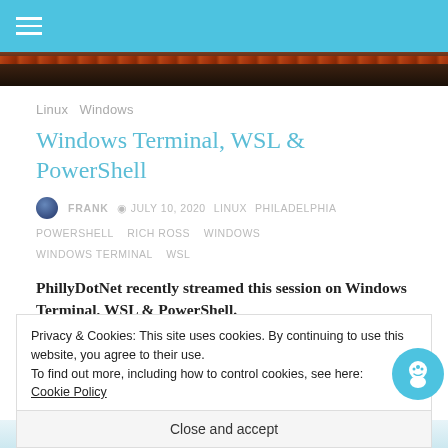[Figure (screenshot): Top navigation bar screenshot of a Windows desktop]
Linux  Windows
Windows Terminal, WSL & PowerShell
FRANK  JULY 10, 2020  LINUX  PHILADELPHIA  POWERSHELL  RICH ROSS  WINDOWS  WINDOWS TERMINAL  WSL
PhillyDotNet recently streamed this session on Windows Terminal, WSL & PowerShell.
Privacy & Cookies: This site uses cookies. By continuing to use this website, you agree to their use.
To find out more, including how to control cookies, see here:
Cookie Policy
Close and accept
[Figure (screenshot): Bottom partial screenshot of a website page]